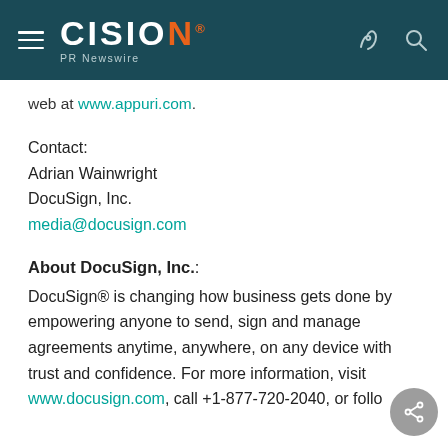CISION PR Newswire
web at www.appuri.com.
Contact:
Adrian Wainwright
DocuSign, Inc.
media@docusign.com
About DocuSign, Inc.:
DocuSign® is changing how business gets done by empowering anyone to send, sign and manage agreements anytime, anywhere, on any device with trust and confidence. For more information, visit www.docusign.com, call +1-877-720-2040, or follo...